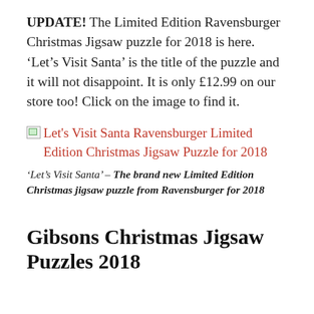UPDATE! The Limited Edition Ravensburger Christmas Jigsaw puzzle for 2018 is here. ‘Let’s Visit Santa’ is the title of the puzzle and it will not disappoint. It is only £12.99 on our store too! Click on the image to find it.
[Figure (other): Broken image placeholder with red hyperlink text: Let's Visit Santa Ravensburger Limited Edition Christmas Jigsaw Puzzle for 2018]
‘Let’s Visit Santa’ – The brand new Limited Edition Christmas jigsaw puzzle from Ravensburger for 2018
Gibsons Christmas Jigsaw Puzzles 2018